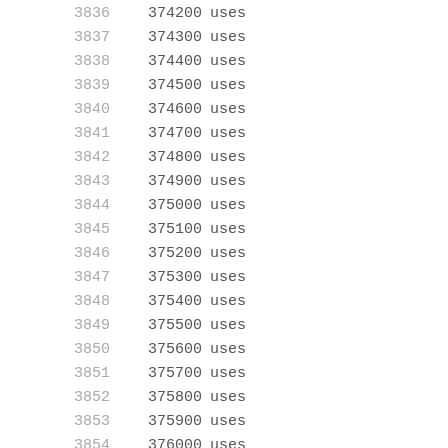3836  374200 uses
3837  374300 uses
3838  374400 uses
3839  374500 uses
3840  374600 uses
3841  374700 uses
3842  374800 uses
3843  374900 uses
3844  375000 uses
3845  375100 uses
3846  375200 uses
3847  375300 uses
3848  375400 uses
3849  375500 uses
3850  375600 uses
3851  375700 uses
3852  375800 uses
3853  375900 uses
3854  376000 uses
3855  376100 uses
3856  376200 uses
3857  376300 uses